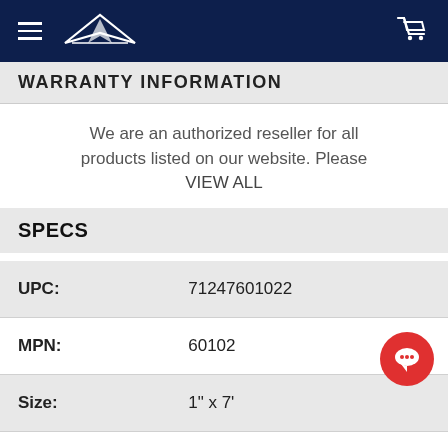Navigation bar with hamburger menu, boat logo, and cart icon
WARRANTY INFORMATION
We are an authorized reseller for all products listed on our website. Please VIEW ALL
SPECS
| Field | Value |
| --- | --- |
| UPC: | 71247601022 |
| MPN: | 60102 |
| Size: | 1" x 7' |
| Color: | Teal Green |